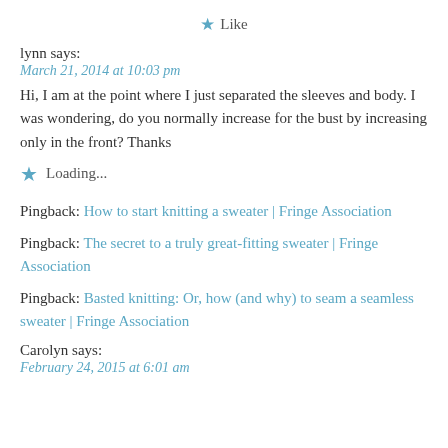★ Like
lynn says:
March 21, 2014 at 10:03 pm
Hi, I am at the point where I just separated the sleeves and body. I was wondering, do you normally increase for the bust by increasing only in the front? Thanks
★ Loading...
Pingback: How to start knitting a sweater | Fringe Association
Pingback: The secret to a truly great-fitting sweater | Fringe Association
Pingback: Basted knitting: Or, how (and why) to seam a seamless sweater | Fringe Association
Carolyn says:
February 24, 2015 at 6:01 am